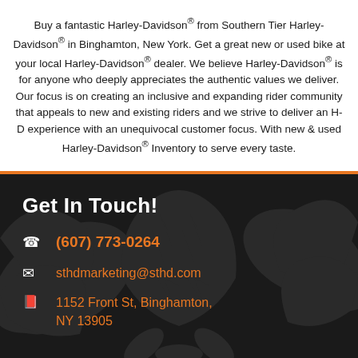Buy a fantastic Harley-Davidson® from Southern Tier Harley-Davidson® in Binghamton, New York. Get a great new or used bike at your local Harley-Davidson® dealer. We believe Harley-Davidson® is for anyone who deeply appreciates the authentic values we deliver. Our focus is on creating an inclusive and expanding rider community that appeals to new and existing riders and we strive to deliver an H-D experience with an unequivocal customer focus. With new & used Harley-Davidson® Inventory to serve every taste.
Get In Touch!
(607) 773-0264
sthdmarketing@sthd.com
1152 Front St, Binghamton, NY 13905